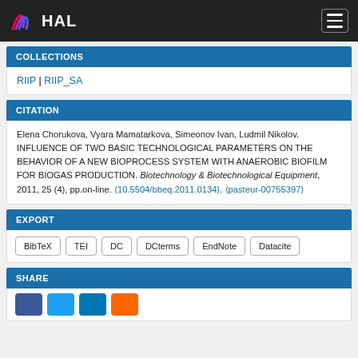HAL
COLLECTIONS
RIIP | RIIP_SA
CITATION
Elena Chorukova, Vyara Mamatarkova, Simeonov Ivan, Ludmil Nikolov. INFLUENCE OF TWO BASIC TECHNOLOGICAL PARAMETERS ON THE BEHAVIOR OF A NEW BIOPROCESS SYSTEM WITH ANAEROBIC BIOFILM FOR BIOGAS PRODUCTION. Biotechnology & Biotechnological Equipment, 2011, 25 (4), pp.on-line. ❨10.5504/bbeq.2011.0134⟩. ❫pasteur-00755397⟩
EXPORT
BibTeX TEI DC DCterms EndNote Datacite
SHARE